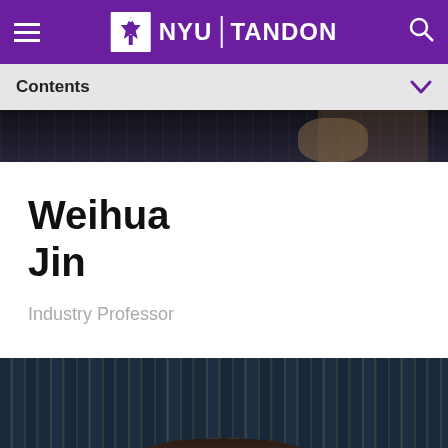NYU TANDON
Contents
[Figure (photo): Partial top of a profile photo showing a dark background, likely part of a faculty photo]
Weihua Jin
Industry Professor
[Figure (photo): Faculty photo of a person in front of bookshelves filled with dark-bound books]